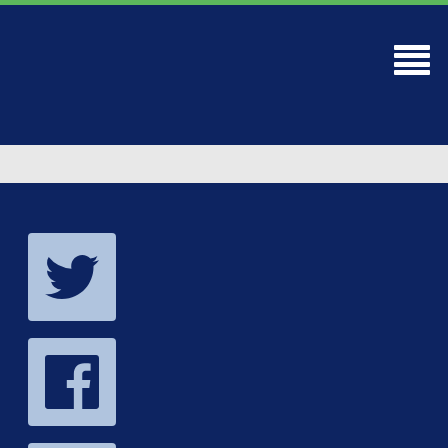[Figure (other): Hamburger menu icon with three horizontal white lines on navy background]
[Figure (other): Twitter bird icon in a light blue square]
[Figure (other): Facebook 'f' icon in a light blue square]
[Figure (other): Instagram camera icon in a light blue square]
Important Links
Assessment Form
Orthotics